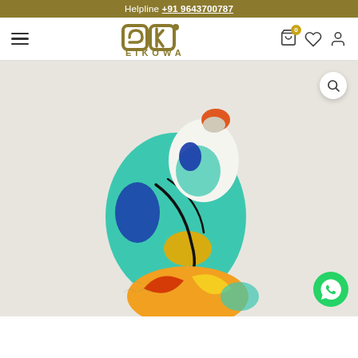Helpline +91 9643700787
[Figure (logo): EIKOWA brand logo with stylized E and K letters]
[Figure (photo): Colorful decorative ceramic bird figurine with teal, blue, orange, yellow and black painted patterns on a light grey background. A magnify icon appears in top right and WhatsApp icon in bottom right.]